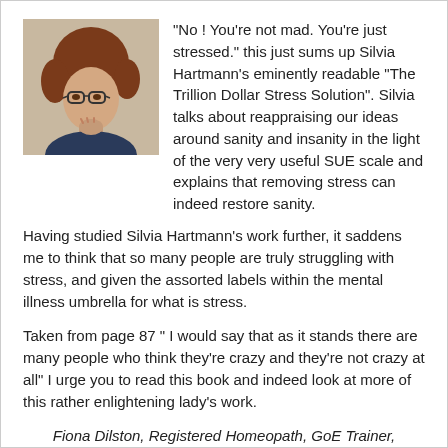[Figure (photo): Head and shoulders photo of a woman with reddish-brown curly hair and glasses, resting her chin on her hand, looking thoughtful.]
"No ! You're not mad. You're just stressed." this just sums up Silvia Hartmann's eminently readable "The Trillion Dollar Stress Solution". Silvia talks about reappraising our ideas around sanity and insanity in the light of the very very useful SUE scale and explains that removing stress can indeed restore sanity.
Having studied Silvia Hartmann's work further, it saddens me to think that so many people are truly struggling with stress, and given the assorted labels within the mental illness umbrella for what is stress.
Taken from page 87 " I would say that as it stands there are many people who think they're crazy and they're not crazy at all" I urge you to read this book and indeed look at more of this rather enlightening lady's work.
Fiona Dilston, Registered Homeopath, GoE Trainer, Intuitive Coach and Clairvoyant. UK